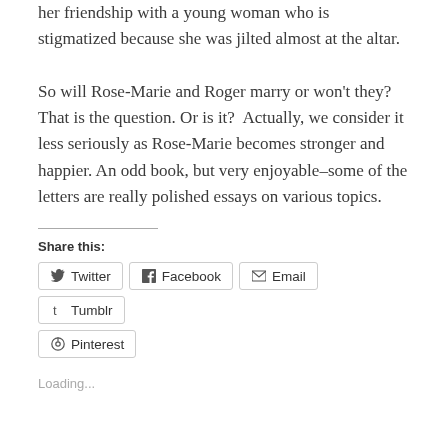her friendship with a young woman who is stigmatized because she was jilted almost at the altar.
So will Rose-Marie and Roger marry or won't they? That is the question. Or is it?  Actually, we consider it less seriously as Rose-Marie becomes stronger and happier. An odd book, but very enjoyable–some of the letters are really polished essays on various topics.
Share this:
Twitter Facebook Email Tumblr Pinterest
Loading...